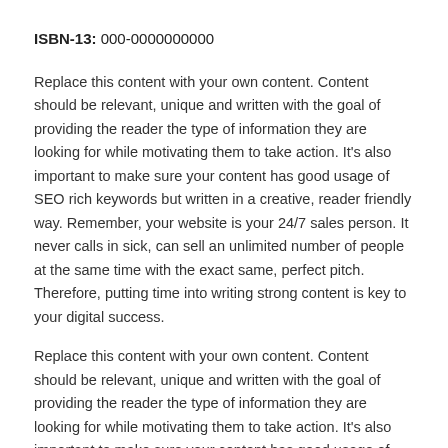ISBN-13: 000-0000000000
Replace this content with your own content. Content should be relevant, unique and written with the goal of providing the reader the type of information they are looking for while motivating them to take action. It's also important to make sure your content has good usage of SEO rich keywords but written in a creative, reader friendly way. Remember, your website is your 24/7 sales person. It never calls in sick, can sell an unlimited number of people at the same time with the exact same, perfect pitch. Therefore, putting time into writing strong content is key to your digital success.
Replace this content with your own content. Content should be relevant, unique and written with the goal of providing the reader the type of information they are looking for while motivating them to take action. It's also important to make sure your content has good usage of SEO rich keywords but written in a creative, reader friendly way. Remember, your website is your 24/7 sales person. It never calls in sick, can sell an unlimited number of people at the same time with the exact same, perfect